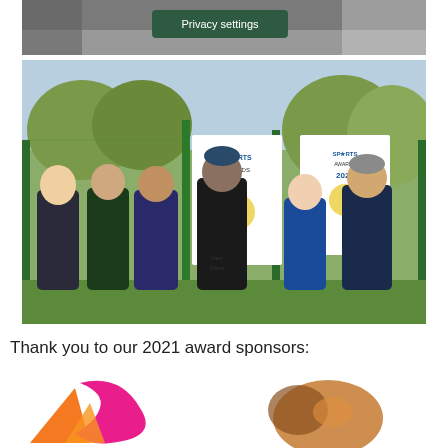[Figure (photo): Top portion of a photo partially visible with a Privacy settings button overlay]
[Figure (photo): Group photo of six people standing outdoors on a sports pitch in front of Sports Awards 2021 banners. Trees visible in background.]
Thank you to our 2021 award sponsors:
[Figure (logo): Sponsor logo on the left - colorful orange and pink geometric shapes forming a logo]
[Figure (logo): Sponsor logo on the right - partially visible brown/orange logo]